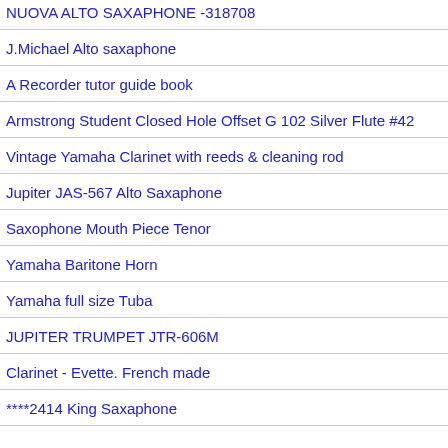NUOVA ALTO SAXAPHONE -318708
J.Michael Alto saxaphone
A Recorder tutor guide book
Armstrong Student Closed Hole Offset G 102 Silver Flute #42
Vintage Yamaha Clarinet with reeds & cleaning rod
Jupiter JAS-567 Alto Saxaphone
Saxophone Mouth Piece Tenor
Yamaha Baritone Horn
Yamaha full size Tuba
JUPITER TRUMPET JTR-606M
Clarinet - Evette. French made
****2414 King Saxaphone